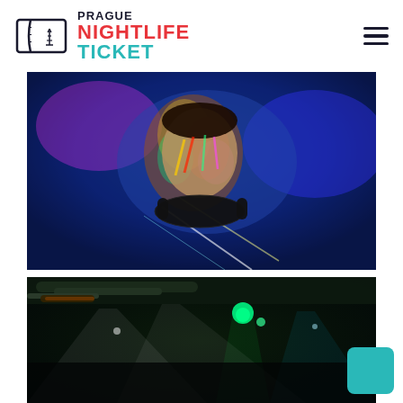[Figure (logo): Prague Nightlife Ticket logo with ticket icon, PRAGUE in dark navy, NIGHTLIFE in red, TICKET in teal]
[Figure (photo): DJ with colorful light projections on face, wearing headphones around neck, vibrant neon colors]
[Figure (photo): Dark nightclub interior with stage lighting, green and white spotlights, concert venue atmosphere]